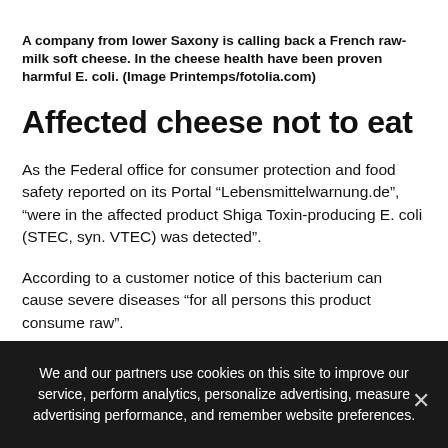A company from lower Saxony is calling back a French raw-milk soft cheese. In the cheese health have been proven harmful E. coli. (Image Printemps/fotolia.com)
Affected cheese not to eat
As the Federal office for consumer protection and food safety reported on its Portal “Lebensmittelwarnung.de”, “were in the affected product Shiga Toxin-producing E. coli (STEC, syn. VTEC) was detected”.
According to a customer notice of this bacterium can cause severe diseases “for all persons this product consume raw”.
The company does not ask, therefore, to eat these “products
We and our partners use cookies on this site to improve our service, perform analytics, personalize advertising, measure advertising performance, and remember website preferences.